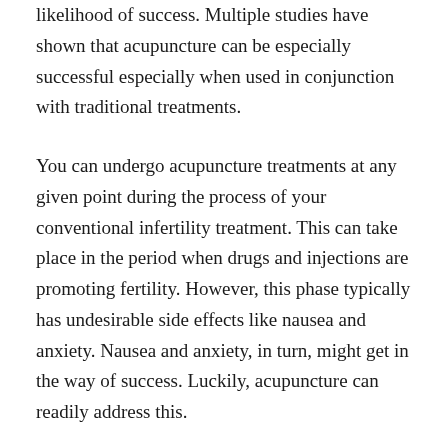likelihood of success. Multiple studies have shown that acupuncture can be especially successful especially when used in conjunction with traditional treatments.
You can undergo acupuncture treatments at any given point during the process of your conventional infertility treatment. This can take place in the period when drugs and injections are promoting fertility. However, this phase typically has undesirable side effects like nausea and anxiety. Nausea and anxiety, in turn, might get in the way of success. Luckily, acupuncture can readily address this.
Acupuncture for fertility can also function as complementary therapy during the first few critical weeks of pregnancy, or even much later. It can help deal with the